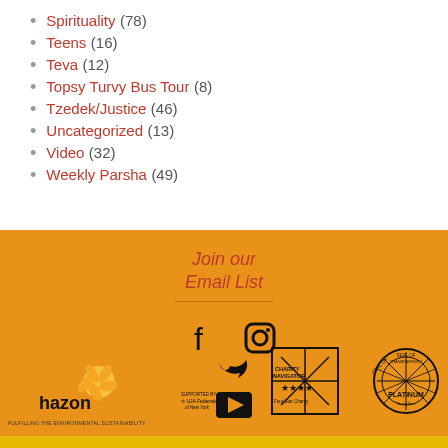Spirituality (78)
Teens (16)
Teva (12)
Topsy Turvy Bus Tour (8)
Tzedek/Justice (46)
Uncategorized (13)
Video (32)
Weekly Parsha (49)
Join our Email List
[Figure (logo): Social media icons: Facebook, Instagram, Twitter, YouTube]
[Figure (logo): Hazon organization logo with flower graphic and tagline]
[Figure (logo): UJA Federation of New York logo]
[Figure (logo): Charity Navigator Four Star Charity badge]
[Figure (logo): Seal of Transparency Platinum badge]